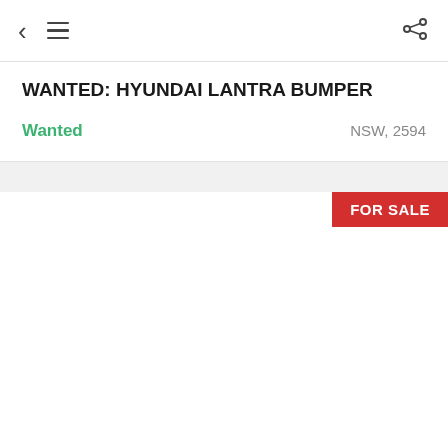< ≡ share
WANTED: HYUNDAI LANTRA BUMPER
Wanted    NSW, 2594
[Figure (other): Advertisement card with FOR SALE badge in upper right corner, large white blank area]
Advertisment